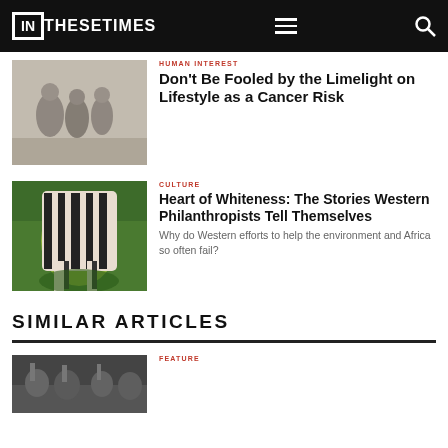IN THESE TIMES
HUMAN INTEREST
Don't Be Fooled by the Limelight on Lifestyle as a Cancer Risk
[Figure (photo): Grayscale photo of soldiers or workers in dusty/smoky environment]
CULTURE
Heart of Whiteness: The Stories Western Philanthropists Tell Themselves
Why do Western efforts to help the environment and Africa so often fail?
[Figure (photo): Colorful illustration of a zebra with green and black tones]
SIMILAR ARTICLES
FEATURE
[Figure (photo): Photo of people at bottom of page]